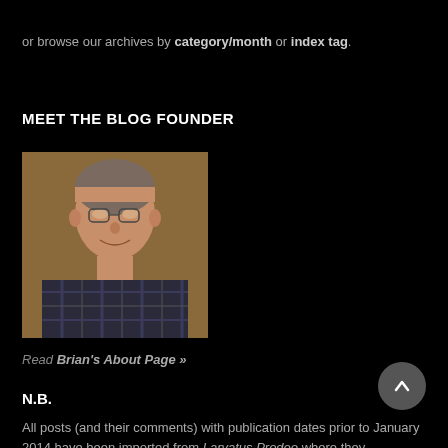or browse our archives by category/month or index tag.
MEET THE BLOG FOUNDER
[Figure (photo): Portrait photo of an elderly man with glasses, smiling, wearing a plaid shirt, against a beige/tan fabric background.]
Read Brian's About Page »
N.B.
All posts (and their comments) with publication dates prior to January 2014 have been imported from Larvatus Prodeo where they